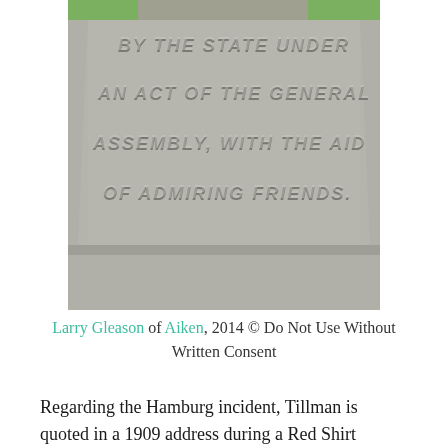[Figure (photo): Close-up photograph of a stone monument or obelisk with carved text reading: '...BY THE STATE UNDER AN ACT OF THE GENERAL ASSEMBLY, WITH THE AID OF ADMIRING FRIENDS.' The stone appears to be granite with a rough texture. Green grass is visible in the background.]
Larry Gleason of Aiken, 2014 © Do Not Use Without Written Consent
Regarding the Hamburg incident, Tillman is quoted in a 1909 address during a Red Shirt